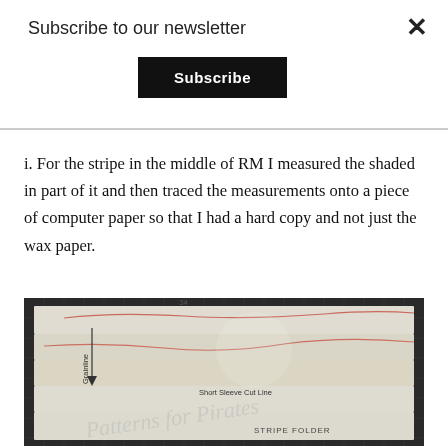Subscribe to our newsletter
Subscribe
×
i. For the stripe in the middle of RM I measured the shaded in part of it and then traced the measurements onto a piece of computer paper so that I had a hard copy and not just the wax paper.
[Figure (photo): A photo showing sewing pattern pieces laid out on a dark grid cutting mat, with wax/tracing paper on top showing lines including 'Short Sleeve Cut Line', 'Grainline' arrow, and 'STRIPE FOLDER' text. A watermark reads 'Patterns for Pirates'.]